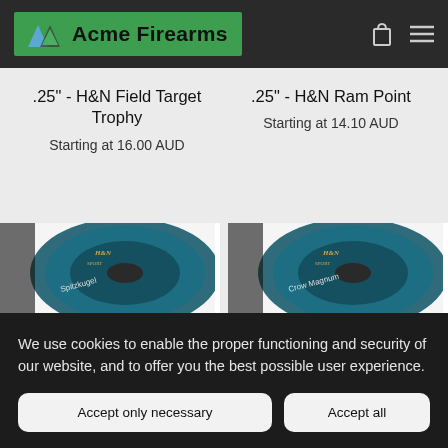Acme Firearms
.25" - H&N Field Target Trophy
Starting at 16.00 AUD
.25" - H&N Ram Point
Starting at 14.10 AUD
[Figure (photo): H&N Spitzkugel pellet tin, teal/dark blue disc packaging]
[Figure (photo): H&N Crow Magnum pellet tin, teal/dark blue disc packaging]
We use cookies to enable the proper functioning and security of our website, and to offer you the best possible user experience.
Accept only necessary
Accept all